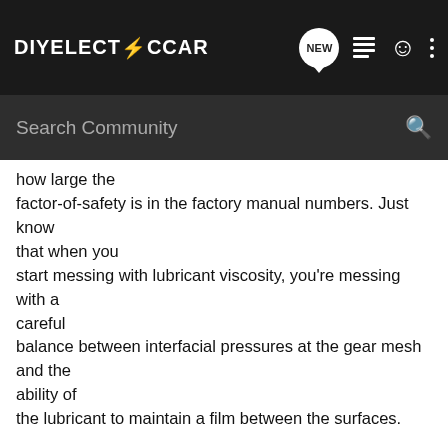DIYELECTRICCAR
Search Community
how large the factor-of-safety is in the factory manual numbers. Just know that when you start messing with lubricant viscosity, you're messing with a careful balance between interfacial pressures at the gear mesh and the ability of the lubricant to maintain a film between the surfaces.

Best,

Bryan
--------------- next part ---------------
An HTML attachment was scrubbed...
URL: